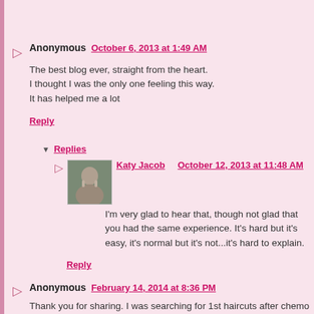Anonymous October 6, 2013 at 1:49 AM
The best blog ever, straight from the heart.
I thought I was the only one feeling this way.
It has helped me a lot
Reply
Replies
Katy Jacob   October 12, 2013 at 11:48 AM
I'm very glad to hear that, though not glad that you had the same experience. It's hard but it's easy, it's normal but it's not...it's hard to explain.
Reply
Anonymous February 14, 2014 at 8:36 PM
Thank you for sharing. I was searching for 1st haircuts after chemo as I am nervous to go to a salon myself. I am bringing my son to get his hair cut tomorrow and if they aren't busy, I'm going to ask when they think I can get a haircut now that I'm done with chemo. I'm hoping they wil